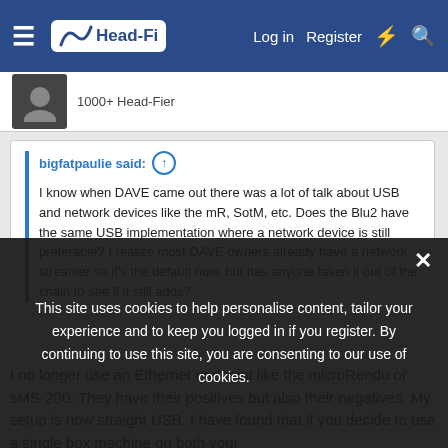Head-Fi — Log in  Register
1000+ Head-Fier
bigfatpaulie said: ↑
I know when DAVE came out there was a lot of talk about USB and network devices like the mR, SotM, etc. Does the Blu2 have the same USB implementation where a network device is still preferable? I realize most DAVE owners already have a network streamer so it's the default now, but has anyone taken it out of the chain to see if it still adds?
I no longer use an Ethernet endpoint like the microRendu or sMS-200. They have their positives but also their negatives. My setup is now straight USB. I have found that if you decide to use a single box machine on both your source and amplifier/DAC, and if you want to power everything with the lowest noise, lowest impedance PSU you can find, this kind of setup can be
This site uses cookies to help personalise content, tailor your experience and to keep you logged in if you register. By continuing to use this site, you are consenting to our use of cookies.